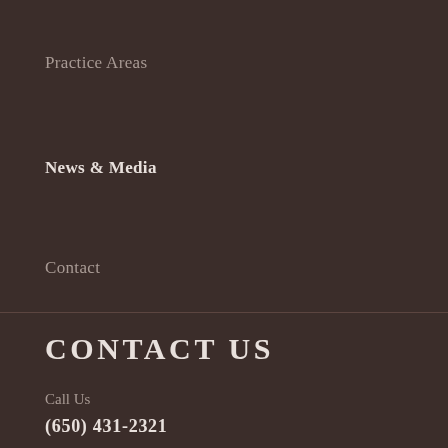Practice Areas
News & Media
Contact
CONTACT US
Call Us
(650) 431-2321
Email us
info@arajlaw.com